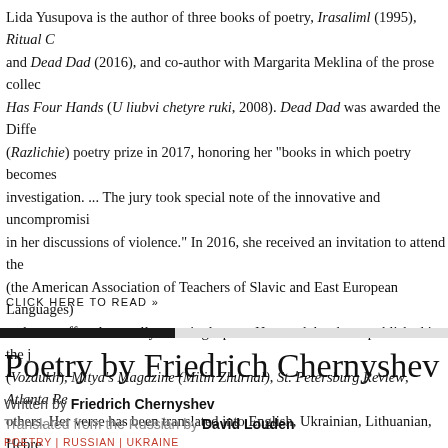Lida Yusupova is the author of three books of poetry, Irasaliml (1995), Ritual C and Dead Dad (2016), and co-author with Margarita Meklina of the prose collec Has Four Hands (U liubvi chetyre ruki, 2008). Dead Dad was awarded the Diffe (Razlichie) poetry prize in 2017, honoring her "books in which poetry becomes investigation. ... The jury took special note of the innovative and uncompromisi in her discussions of violence." In 2016, she received an invitation to attend the (the American Association of Teachers of Slavic and East European Languages) an honor offered annually to a single poet. Her work has been published in the j (Vozdukh), Mitya's Magazine (Mitin Zhurnal), St. Petersburg Review, Atlanta Re others. Her verse has been translated into English, Ukrainian, Lithuanian, Hebre and Polish. She has lived in Petrozavodsk, St. Petersburg, and Jerusalem, and no Toronto and on an island off the coast of Belize. Kirill Kobrin has said of Yusup poems, "Their angle of observation and description is nearly impossible for Rus
CLICK HERE TO READ »
Poetry by Friedrich Chernyshev
Written by Friedrich Chernyshev
Translated from the Russian by David Louden
POETRY | RUSSIAN | UKRAINE